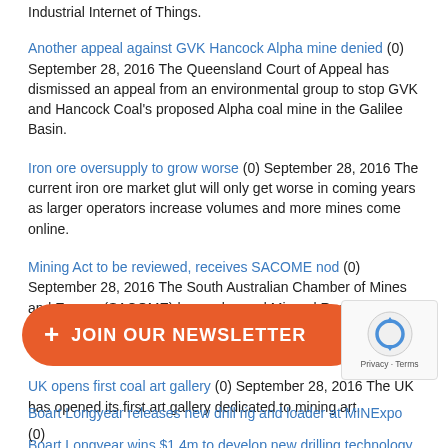Industrial Internet of Things.
Another appeal against GVK Hancock Alpha mine denied (0) September 28, 2016 The Queensland Court of Appeal has dismissed an appeal from an environmental group to stop GVK and Hancock Coal's proposed Alpha coal mine in the Galilee Basin.
Iron ore oversupply to grow worse (0) September 28, 2016 The current iron ore market glut will only get worse in coming years as larger operators increase volumes and more mines come online.
Mining Act to be reviewed, receives SACOME nod (0) September 28, 2016 The South Australian Chamber of Mines and Energy (SACOME) has welcomed Mineral Resources and Energy minister Tom Koutsantonis' decision to review the state Mining Act.
UK opens first coal art gallery (0) September 28, 2016 The UK has opened its first art gallery dedicated to mining art.
Boart Longyear wins $1.4m to develop new drilling technology (0) September 28, 2016 The government of Ontario in Canada has awarded Boart Longyear CAD$1.37 million for a new mineral exploration drilling site and for drilling systems technology.
Cat unveils new underground loader (0) September 28, 2016 Caterpillar has released its new R1700K underground loader at MINExpo.
... e systems (0) Sept... wall armoured face conveyor high torque drive systems at MINExpo.
Boart Longyear releases new drill rig and loader at MINExpo (0)